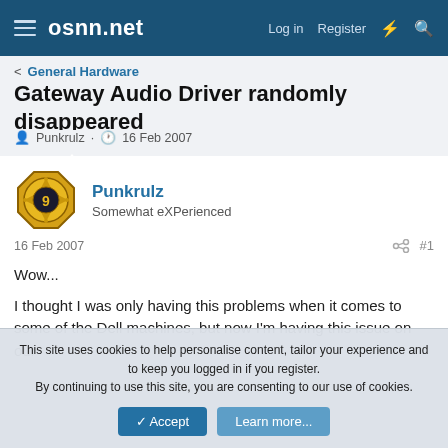osnn.net  Log in  Register
< General Hardware
Gateway Audio Driver randomly disappeared
Punkrulz · 16 Feb 2007
Punkrulz
Somewhat eXPerienced
16 Feb 2007  #1
Wow...

I thought I was only having this problems when it comes to some of the Dell machines, but now I'm having this issue on our
This site uses cookies to help personalise content, tailor your experience and to keep you logged in if you register.
By continuing to use this site, you are consenting to our use of cookies.
[Accept]  [Learn more...]